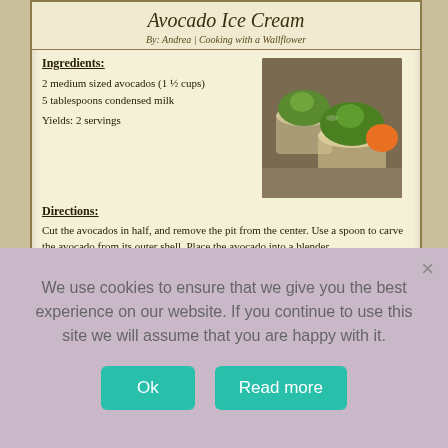Avocado Ice Cream
By: Andrea | Cooking with a Wallflower
Ingredients:
2 medium sized avocados (1 ½ cups)
5 tablespoons condensed milk

Yields: 2 servings
[Figure (photo): Two small glass cups filled with green avocado ice cream, with an orange object in the background]
Directions:
Cut the avocados in half, and remove the pit from the center. Use a spoon to carve the avocado from its outer shell. Place the avocado into a blender.
Add the condensed milk.
Blend the avocado and condensed milk until it becomes creamy and smooth.
Pour the avocado and condensed milk mixture into freezer safe containers.
Place the containers in the freezer, and allow the Avocado Ice Cream to chill and harden for about 5-6 hours.
Remove the ice cream from the freezer and serve immediately cold.
We use cookies to ensure that we give you the best experience on our website. If you continue to use this site we will assume that you are happy with it.